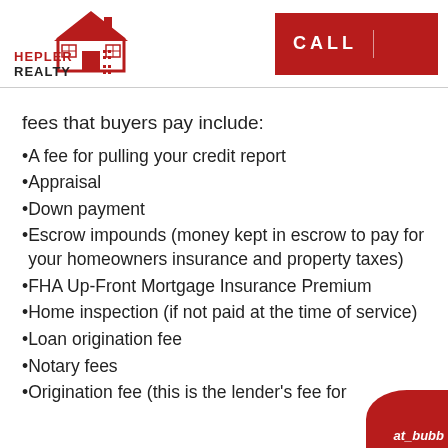[Figure (logo): Hepler Realty logo with house icon and CALL button]
fees that buyers pay include:
A fee for pulling your credit report
Appraisal
Down payment
Escrow impounds (money kept in escrow to pay for your homeowners insurance and property taxes)
FHA Up-Front Mortgage Insurance Premium
Home inspection (if not paid at the time of service)
Loan origination fee
Notary fees
Origination fee (this is the lender's fee for…